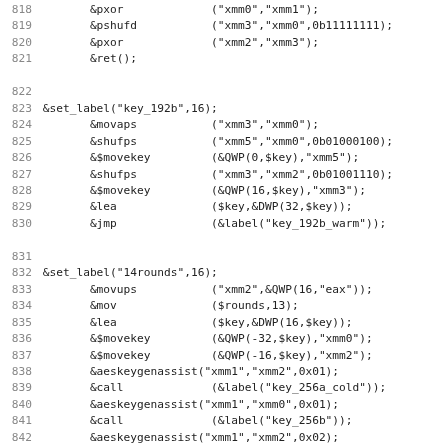Assembly/Perl source code listing lines 818–850 showing AES key schedule routines including set_label, movaps, shufps, $movekey, lea, jmp, movups, mov, aeskeygenassist, and call instructions.